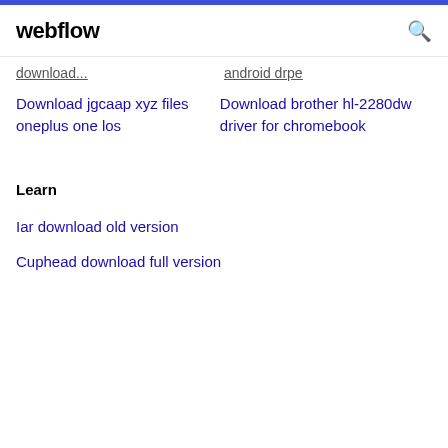webflow
download ... android drpe
Download jgcaap xyz files oneplus one los
Download brother hl-2280dw driver for chromebook
Learn
Iar download old version
Cuphead download full version